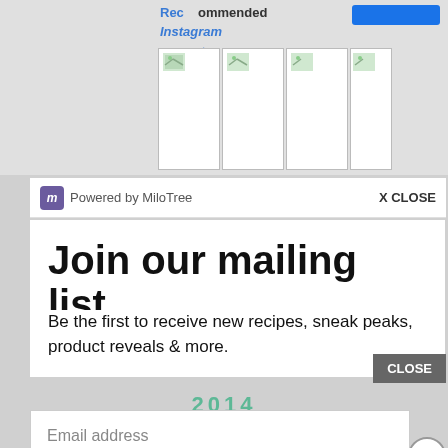Recommended · Instagram account
[Figure (screenshot): Instagram image thumbnails grid with broken image icons]
Powered by MiloTree
X CLOSE
Join our mailing list.
Be the first to receive new recipes, sneak peaks, product reveals & more.
Email address
Subscribe
2015
2014
CLOSE